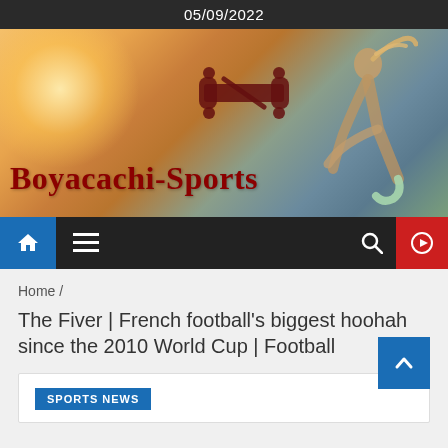05/09/2022
[Figure (logo): Boyacachi-Sports website banner with runner silhouette against warm sky background and puzzle piece icon logo]
Boyacachi-Sports
[Figure (screenshot): Navigation bar with home icon (blue background), hamburger menu, search icon, and play button (red background)]
Home /
The Fiver | French football’s biggest hoohah since the 2010 World Cup | Football
SPORTS NEWS